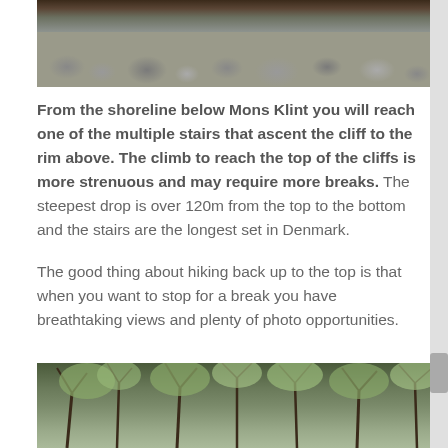[Figure (photo): Rocky shoreline with grey stones and pebbles, water visible, coastal scene below Mons Klint cliff]
From the shoreline below Mons Klint you will reach one of the multiple stairs that ascent the cliff to the rim above. The climb to reach the top of the cliffs is more strenuous and may require more breaks. The steepest drop is over 120m from the top to the bottom and the stairs are the longest set in Denmark.
The good thing about hiking back up to the top is that when you want to stop for a break you have breathtaking views and plenty of photo opportunities.
[Figure (photo): Forest scene with bare and leafy trees, green foliage visible through branches]